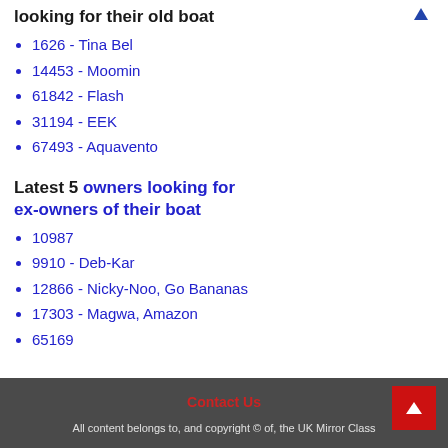looking for their old boat
1626 - Tina Bel
14453 - Moomin
61842 - Flash
31194 - EEK
67493 - Aquavento
Latest 5 owners looking for ex-owners of their boat
10987
9910 - Deb-Kar
12866 - Nicky-Noo, Go Bananas
17303 - Magwa, Amazon
65169
Contact Us
All content belongs to, and copyright © of, the UK Mirror Class